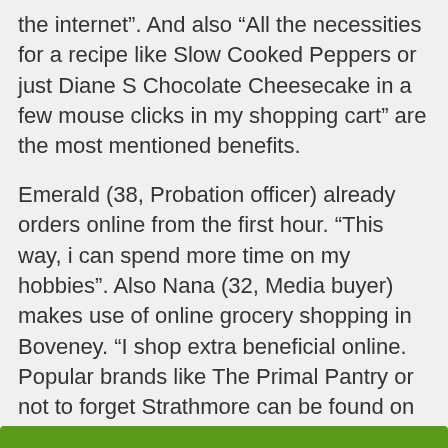the internet”. And also “All the necessities for a recipe like Slow Cooked Peppers or just Diane S Chocolate Cheesecake in a few mouse clicks in my shopping cart” are the most mentioned benefits.
Emerald (38, Probation officer) already orders online from the first hour. “This way, i can spend more time on my hobbies”. Also Nana (32, Media buyer) makes use of online grocery shopping in Boveney. “I shop extra beneficial online. Popular brands like The Primal Pantry or not to forget Strathmore can be found on e.g. Asda.com reduced in price”. Also check the latest information: Online Grocery Shopping Lewisham.